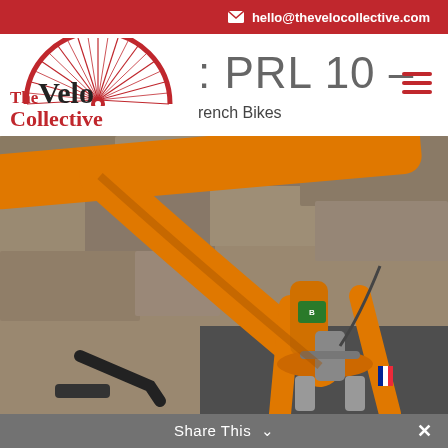✉ hello@thevelocollective.com
The Velo Collective
: PRL 10 –
rench Bikes
[Figure (photo): Close-up photograph of an orange French racing bicycle frame showing the head tube, fork, and front brake components against a stone wall background]
Share This ∨